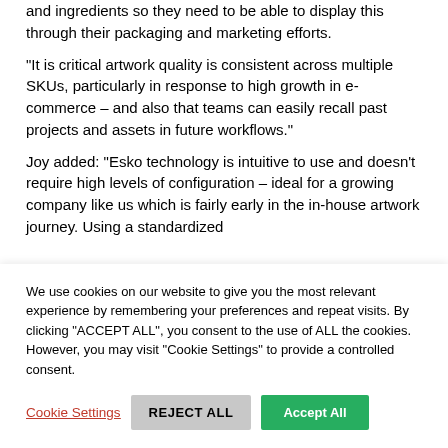and ingredients so they need to be able to display this through their packaging and marketing efforts.
"It is critical artwork quality is consistent across multiple SKUs, particularly in response to high growth in e-commerce – and also that teams can easily recall past projects and assets in future workflows."
Joy added: "Esko technology is intuitive to use and doesn't require high levels of configuration – ideal for a growing company like us which is fairly early in the in-house artwork journey. Using a standardized
We use cookies on our website to give you the most relevant experience by remembering your preferences and repeat visits. By clicking "ACCEPT ALL", you consent to the use of ALL the cookies. However, you may visit "Cookie Settings" to provide a controlled consent.